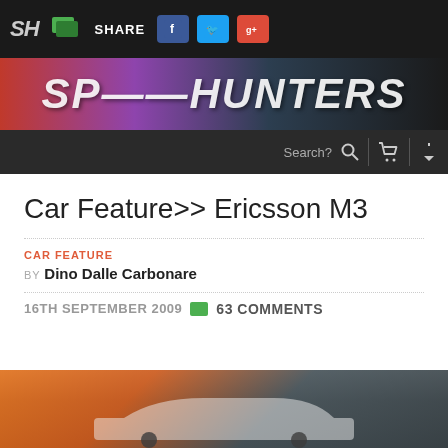SH SHARE [Facebook] [Twitter] [Google+]
[Figure (screenshot): Speedhunters banner logo in stylized italic text over a colorful gradient background]
[Figure (screenshot): Dark navigation bar with Search?, magnifying glass icon, shopping cart icon, and download icon]
Car Feature>> Ericsson M3
CAR FEATURE
BY Dino Dalle Carbonare
16TH SEPTEMBER 2009 63 COMMENTS
[Figure (photo): Partial view of a white BMW M3 car parked in front of a corrugated metal wall]